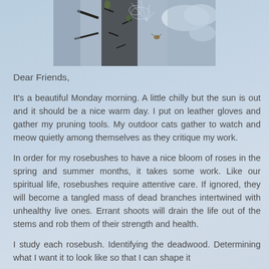[Figure (photo): Close-up photograph of a thorny rose stem with a spider web and cloudy sky in the background]
Dear Friends,
It's a beautiful Monday morning. A little chilly but the sun is out and it should be a nice warm day. I put on leather gloves and gather my pruning tools. My outdoor cats gather to watch and meow quietly among themselves as they critique my work.
In order for my rosebushes to have a nice bloom of roses in the spring and summer months, it takes some work. Like our spiritual life, rosebushes require attentive care. If ignored, they will become a tangled mass of dead branches intertwined with unhealthy live ones. Errant shoots will drain the life out of the stems and rob them of their strength and health.
I study each rosebush. Identifying the deadwood. Determining what I want it to look like so that I can shape it